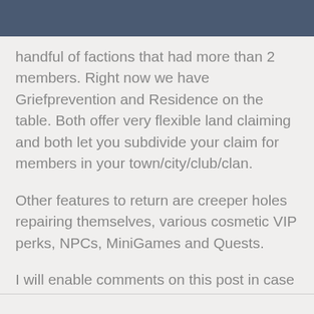handful of factions that had more than 2 members. Right now we have Griefprevention and Residence on the table. Both offer very flexible land claiming and both let you subdivide your claim for members in your town/city/club/clan.
Other features to return are creeper holes repairing themselves, various cosmetic VIP perks, NPCs, MiniGames and Quests.
I will enable comments on this post in case anyone has questions or suggestions! 💬 0